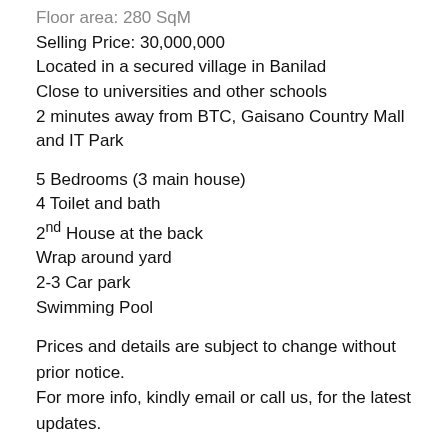Floor area: 280 SqM
Selling Price: 30,000,000
Located in a secured village in Banilad
Close to universities and other schools
2 minutes away from BTC, Gaisano Country Mall and IT Park
5 Bedrooms (3 main house)
4 Toilet and bath
2nd House at the back
Wrap around yard
2-3 Car park
Swimming Pool
Prices and details are subject to change without prior notice.
For more info, kindly email or call us, for the latest updates.